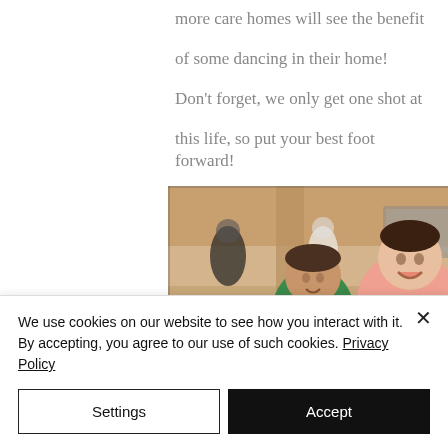more care homes will see the benefit
of some dancing in their home!
Don't forget, we only get one shot at
this life, so put your best foot forward!
[Figure (photo): Two people posing and smiling in what appears to be a care home lounge area. One person is wearing a green top, the other is wearing a pink shirt and appears very enthusiastic. Other people are visible in the background.]
We use cookies on our website to see how you interact with it. By accepting, you agree to our use of such cookies. Privacy Policy
Settings
Accept